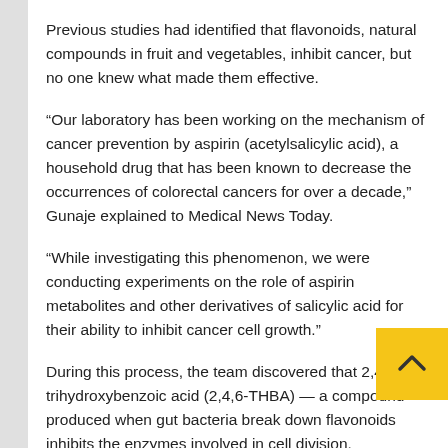Previous studies had identified that flavonoids, natural compounds in fruit and vegetables, inhibit cancer, but no one knew what made them effective.
“Our laboratory has been working on the mechanism of cancer prevention by aspirin (acetylsalicylic acid), a household drug that has been known to decrease the occurrences of colorectal cancers for over a decade,” Gunaje explained to Medical News Today.
“While investigating this phenomenon, we were conducting experiments on the role of aspirin metabolites and other derivatives of salicylic acid for their ability to inhibit cancer cell growth.”
During this process, the team discovered that 2,4,6-trihydroxybenzoic acid (2,4,6-THBA) — a compound produced when gut bacteria break down flavonoids inhibits the enzymes involved in cell division.
Gunaje added that “Interestingly [2,4,6-THBA] is also